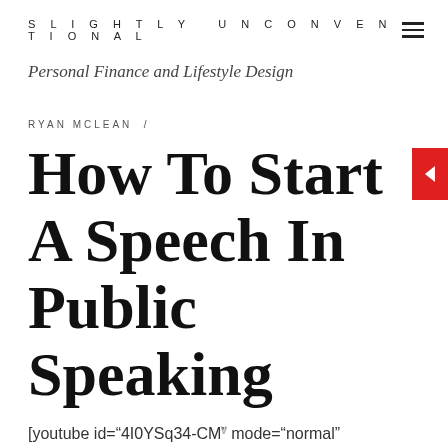SLIGHTLY UNCONVENTIONAL
Personal Finance and Lifestyle Design
RYAN MCLEAN /
How To Start A Speech In Public Speaking
[youtube id="4I0YSq34-CM" mode="normal" align="center"]